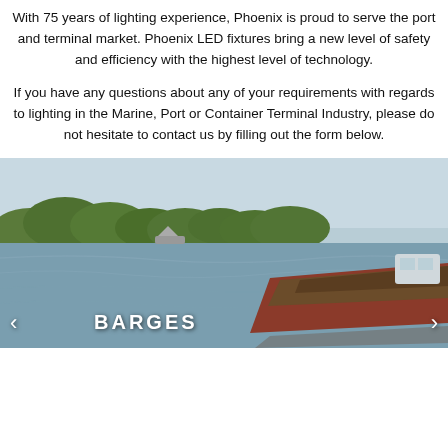With 75 years of lighting experience, Phoenix is proud to serve the port and terminal market. Phoenix LED fixtures bring a new level of safety and efficiency with the highest level of technology.
If you have any questions about any of your requirements with regards to lighting in the Marine, Port or Container Terminal Industry, please do not hesitate to contact us by filling out the form below.
[Figure (photo): A barge traveling along a river with green trees on the bank, water reflections visible. Label 'BARGES' shown at bottom with left and right navigation arrows.]